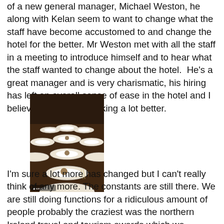of a new general manager, Michael Weston, he along with Kelan seem to want to change what the staff have become accustomed to and change the hotel for the better. Mr Weston met with all the staff in a meeting to introduce himself and to hear what the staff wanted to change about the hotel.  He's a great manager and is very charismatic, his hiring has left an overall sense of ease in the hotel and I believe the hotel is working a lot better.
[Figure (photo): A long banquet table set with rows of white dinner plates, each with a small dessert and cutlery, extending into the background of a large event hall with dark red carpet.]
I'm sure a lot more has changed but I can't really think of any more. The constants are still there. We are still doing functions for a ridiculous amount of people probably the craziest was the northern Ireland travel and tourism awards which we catered for 450 guests all